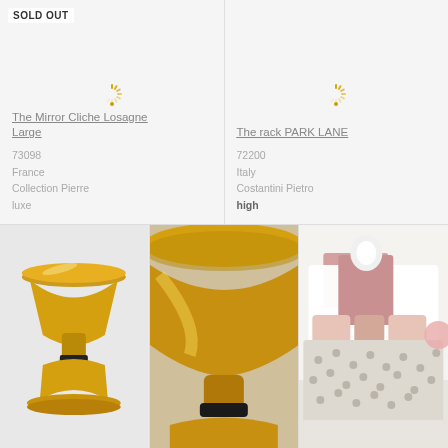SOLD OUT
The Mirror Cliche Losagne Large
73098
France
Collection Pierre
luxe
The rack PARK LANE
72200
Italy
Costantini Pietro
high
[Figure (photo): Small golden hourglass-shaped pedestal table on white background]
[Figure (photo): Close-up of golden hourglass pedestal table base with black band detail]
[Figure (photo): Bedroom scene with white upholstered bed, pink headboard, polka-dot bedding, and pink pillows]